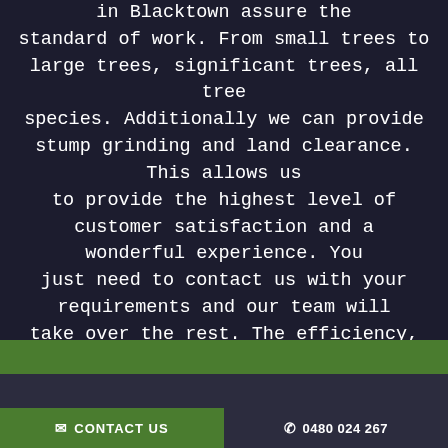in Blacktown assure the standard of work. From small trees to large trees, significant trees, all tree species. Additionally we can provide stump grinding and land clearance. This allows us to provide the highest level of customer satisfaction and a wonderful experience. You just need to contact us with your requirements and our team will take over the rest. The efficiency, the quality of the work, and correct preparation.
CONTACT US   0480 024 267